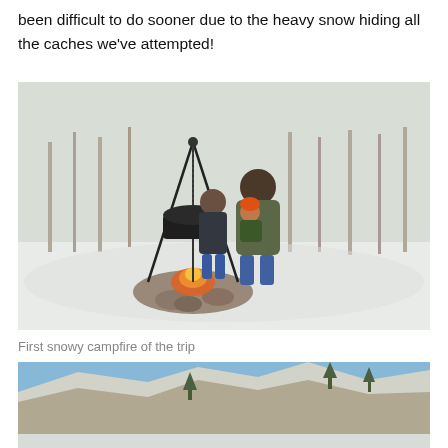been difficult to do sooner due to the heavy snow hiding all the caches we've attempted!
[Figure (photo): A man kneeling in snow with two young children, posing next to a campfire with a cast iron pot hanging over it on a tripod, surrounded by snowy trees in the background.]
First snowy campfire of the trip
[Figure (photo): A rocky cliff face with snow and trees in a wintry outdoor landscape, blue sky visible in the upper right.]